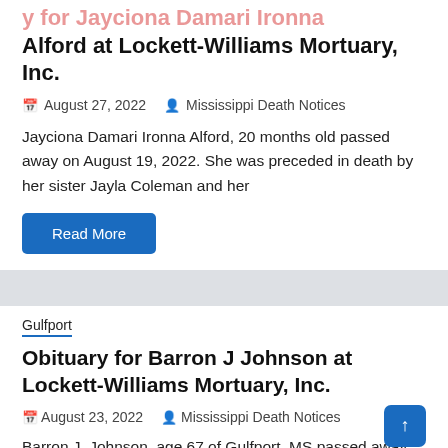Obituary for Jayciona Damari Ironna Alford at Lockett-Williams Mortuary, Inc.
August 27, 2022   Mississippi Death Notices
Jayciona Damari Ironna Alford, 20 months old passed away on August 19, 2022. She was preceded in death by her sister Jayla Coleman and her
Read More
Gulfport
Obituary for Barron J Johnson at Lockett-Williams Mortuary, Inc.
August 23, 2022   Mississippi Death Notices
Barron J. Johnson, age 67 of Gulfport, MS passed away on August 17, 2022. A Memorial will be held at 800 am on